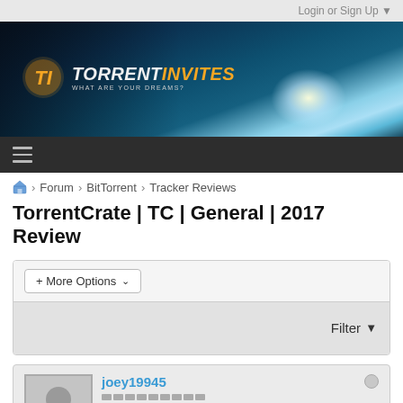Login or Sign Up ▼
[Figure (logo): TorrentInvites banner with logo and tagline 'WHAT ARE YOUR DREAMS?']
[Figure (other): Navigation hamburger menu bar]
🏠 > Forum > BitTorrent > Tracker Reviews
TorrentCrate | TC | General | 2017 Review
+ More Options ▾
Filter ▼
joey19945
[Figure (other): User avatar placeholder with silhouette icon and rank bars]